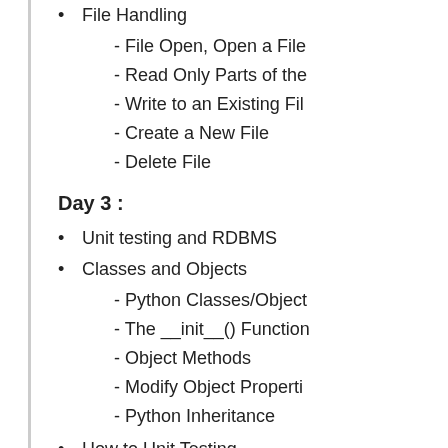File Handling
- File Open, Open a File
- Read Only Parts of the
- Write to an Existing Fil
- Create a New File
- Delete File
Day 3 :
Unit testing and RDBMS
Classes and Objects
- Python Classes/Object
- The __init__() Function
- Object Methods
- Modify Object Properti
- Python Inheritance
How to Unit Testing